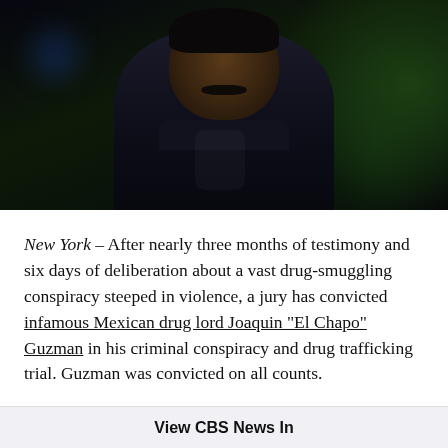[Figure (photo): Dark photograph of a heavyset man with a mustache wearing dark clothing, with green camouflage-uniformed figures visible in the background. The image is dimly lit.]
New York – After nearly three months of testimony and six days of deliberation about a vast drug-smuggling conspiracy steeped in violence, a jury has convicted infamous Mexican drug lord Joaquin "El Chapo" Guzman in his criminal conspiracy and drug trafficking trial. Guzman was convicted on all counts.
The jury heard extensive testimony about Guzman's rise to power as the head of the Sinaloa cartel in the high-profile trial before reaching the verdict
View CBS News In